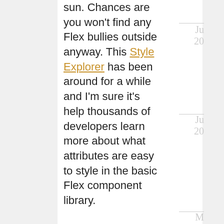sun. Chances are you won't find any Flex bullies outside anyway. This Style Explorer has been around for a while and I'm sure it's help thousands of developers learn more about what attributes are easy to style in the basic Flex component library.
Ju 20
Ju 20
M 20
A 20
M 20
Fe 20